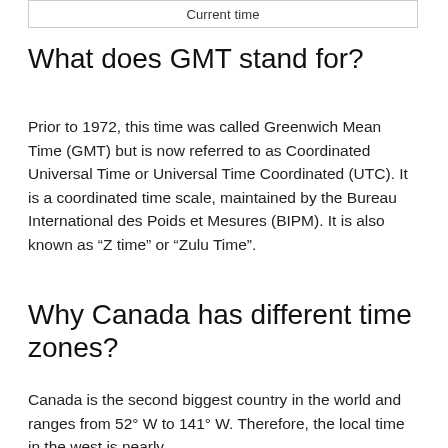Current time
What does GMT stand for?
Prior to 1972, this time was called Greenwich Mean Time (GMT) but is now referred to as Coordinated Universal Time or Universal Time Coordinated (UTC). It is a coordinated time scale, maintained by the Bureau International des Poids et Mesures (BIPM). It is also known as “Z time” or “Zulu Time”.
Why Canada has different time zones?
Canada is the second biggest country in the world and ranges from 52° W to 141° W. Therefore, the local time in the west is nearly